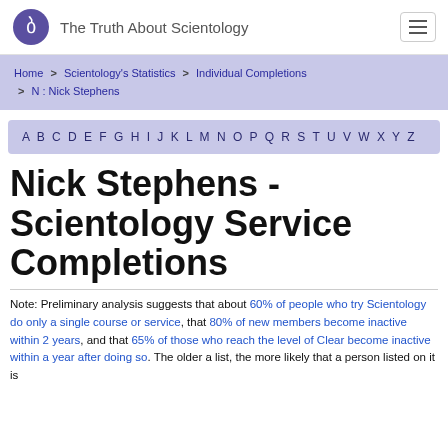The Truth About Scientology
Home > Scientology's Statistics > Individual Completions > N : Nick Stephens
A B C D E F G H I J K L M N O P Q R S T U V W X Y Z
Nick Stephens - Scientology Service Completions
Note: Preliminary analysis suggests that about 60% of people who try Scientology do only a single course or service, that 80% of new members become inactive within 2 years, and that 65% of those who reach the level of Clear become inactive within a year after doing so. The older a list, the more likely that a person listed on it is